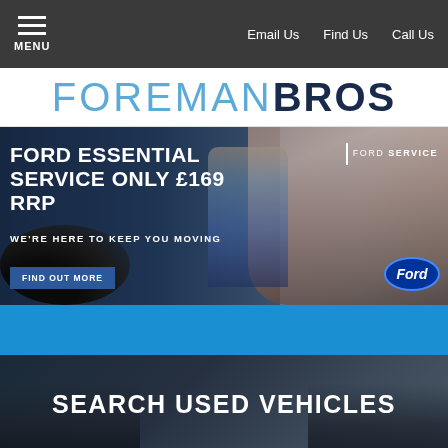MENU | Email Us | Find Us | Call Us
FOREMAN BROS
[Figure (photo): Ford Essential Service advertisement banner. Text reads: FORD ESSENTIAL SERVICE ONLY £169 RRP. WE'RE HERE TO KEEP YOU MOVING. FIND OUT MORE button. Ford Service logo top right. Ford oval logo bottom right. Background shows smiling woman in car and Ford technician.]
SEARCH USED VEHICLES
FINANCE